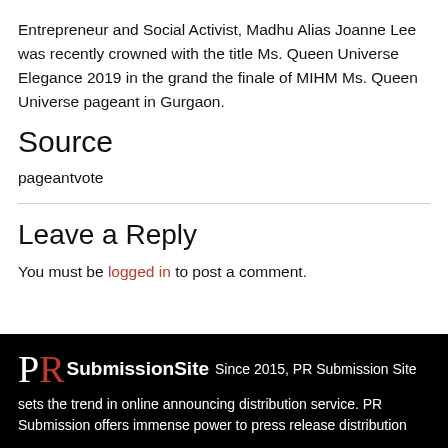Entrepreneur and Social Activist, Madhu Alias Joanne Lee was recently crowned with the title Ms. Queen Universe Elegance 2019 in the grand the finale of MIHM Ms. Queen Universe pageant in Gurgaon.
Source
pageantvote
Leave a Reply
You must be logged in to post a comment.
PR SubmissionSite Since 2015, PR Submission Site sets the trend in online announcing distribution service. PR Submission offers immense power to press release distribution